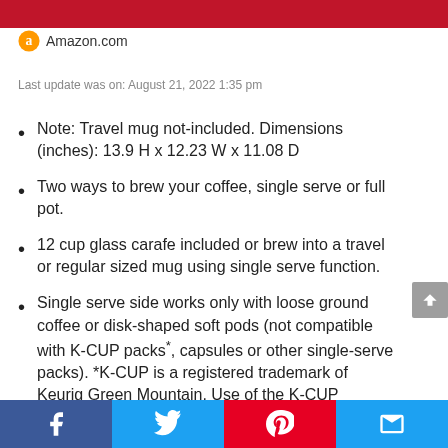[Figure (other): Red banner at top of page]
Amazon.com
Last update was on: August 21, 2022 1:35 pm
Note: Travel mug not-included. Dimensions (inches): 13.9 H x 12.23 W x 11.08 D
Two ways to brew your coffee, single serve or full pot.
12 cup glass carafe included or brew into a travel or regular sized mug using single serve function.
Single serve side works only with loose ground coffee or disk-shaped soft pods (not compatible with K-CUP packs*, capsules or other single-serve packs). *K-CUP is a registered trademark of Keurig Green Mountain. Use of the K-CUP
Social share bar: Facebook, Twitter, Pinterest, Email